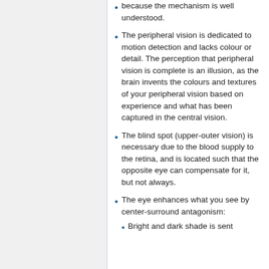because the mechanism is well understood.
The peripheral vision is dedicated to motion detection and lacks colour or detail. The perception that peripheral vision is complete is an illusion, as the brain invents the colours and textures of your peripheral vision based on experience and what has been captured in the central vision.
The blind spot (upper-outer vision) is necessary due to the blood supply to the retina, and is located such that the opposite eye can compensate for it, but not always.
The eye enhances what you see by center-surround antagonism:
Bright and dark shade is sent